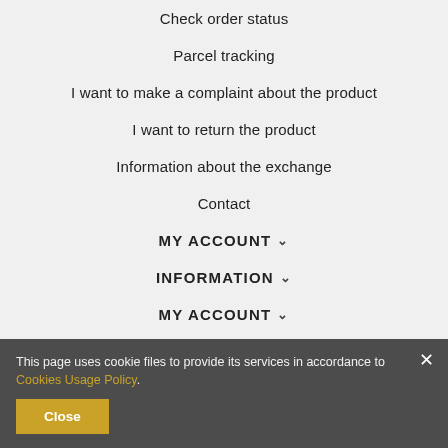Check order status
Parcel tracking
I want to make a complaint about the product
I want to return the product
Information about the exchange
Contact
MY ACCOUNT ∨
INFORMATION ∨
MY ACCOUNT ∨
This page uses cookie files to provide its services in accordance to Cookies Usage Policy.
Close